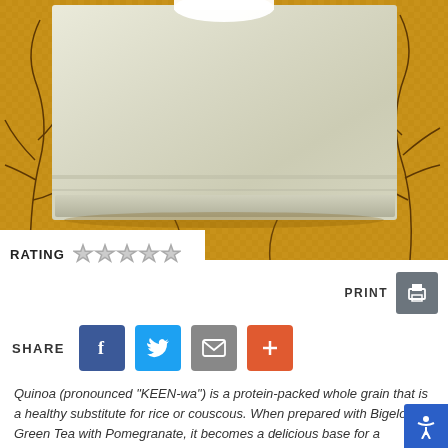[Figure (photo): Folded beige/cream linen napkin on a golden woven mat with dark brown tree branch pattern, white bowl partially visible at top]
RATING ☆☆☆☆☆
PRINT
SHARE
Quinoa (pronounced "KEEN-wa") is a protein-packed whole grain that is a healthy substitute for rice or couscous. When prepared with Bigelow Green Tea with Pomegranate, it becomes a delicious base for a nutritious